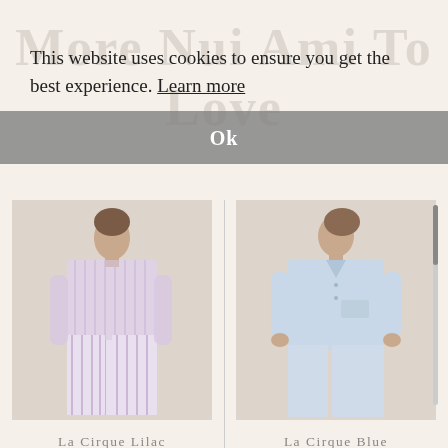More Nui Ami To Love
This website uses cookies to ensure you get the best experience. Learn more
Ok
[Figure (photo): Woman modeling La Cirque Lilac Stripe Pyjama - lilac/white vertical striped pajama set]
La Cirque Lilac Stripe Pyjama
[Figure (photo): Woman modeling La Cirque Blue Pyjama - light blue pajama set]
La Cirque Blue Pyjama